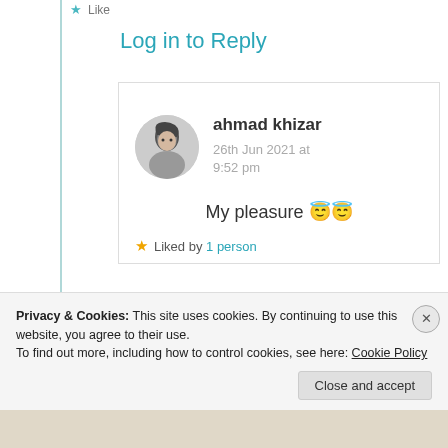★ Like
Log in to Reply
[Figure (photo): Avatar photo of commenter ahmad khizar – circular cropped black and white portrait]
ahmad khizar
26th Jun 2021 at 9:52 pm
My pleasure 😇😇
★ Liked by 1 person
Privacy & Cookies: This site uses cookies. By continuing to use this website, you agree to their use.
To find out more, including how to control cookies, see here: Cookie Policy
Close and accept